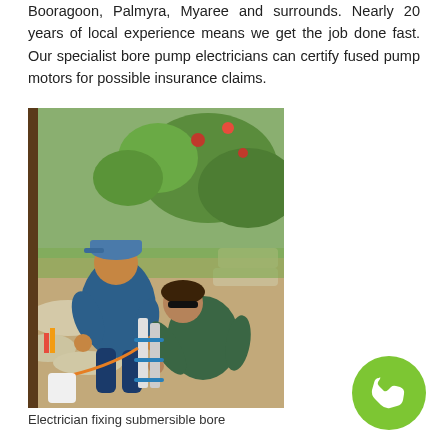Booragoon, Palmyra, Myaree and surrounds. Nearly 20 years of local experience means we get the job done fast. Our specialist bore pump electricians can certify fused pump motors for possible insurance claims.
[Figure (photo): Two electricians working on a submersible bore pump installation outdoors. One man in a blue cap and blue work clothes is crouching and working with tools on the pump. Another man in green clothing is leaning in close to inspect the equipment. Garden and stone path visible in background.]
Electrician fixing submersible bore
[Figure (other): Green circular phone/call button icon in the bottom right corner of the page.]